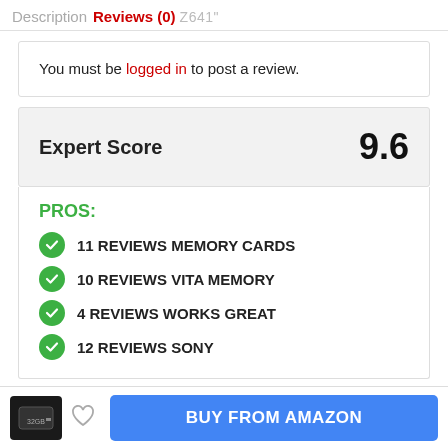Description  Reviews (0)  Z641"
You must be logged in to post a review.
Expert Score  9.6
PROS:
11 REVIEWS MEMORY CARDS
10 REVIEWS VITA MEMORY
4 REVIEWS WORKS GREAT
12 REVIEWS SONY
BUY FROM AMAZON